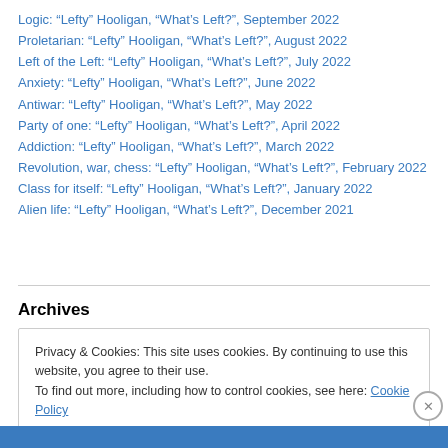Logic: “Lefty” Hooligan, “What’s Left?”, September 2022
Proletarian: “Lefty” Hooligan, “What’s Left?”, August 2022
Left of the Left: “Lefty” Hooligan, “What’s Left?”, July 2022
Anxiety: “Lefty” Hooligan, “What’s Left?”, June 2022
Antiwar: “Lefty” Hooligan, “What’s Left?”, May 2022
Party of one: “Lefty” Hooligan, “What’s Left?”, April 2022
Addiction: “Lefty” Hooligan, “What’s Left?”, March 2022
Revolution, war, chess: “Lefty” Hooligan, “What’s Left?”, February 2022
Class for itself: “Lefty” Hooligan, “What’s Left?”, January 2022
Alien life: “Lefty” Hooligan, “What’s Left?”, December 2021
Archives
Privacy & Cookies: This site uses cookies. By continuing to use this website, you agree to their use.
To find out more, including how to control cookies, see here: Cookie Policy